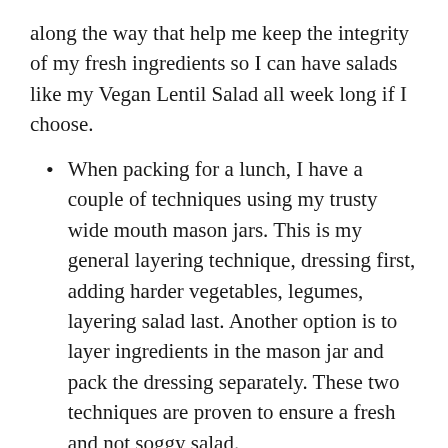along the way that help me keep the integrity of my fresh ingredients so I can have salads like my Vegan Lentil Salad all week long if I choose.
When packing for a lunch, I have a couple of techniques using my trusty wide mouth mason jars. This is my general layering technique, dressing first, adding harder vegetables, legumes, layering salad last. Another option is to layer ingredients in the mason jar and pack the dressing separately. These two techniques are proven to ensure a fresh and not soggy salad.
Try prepping your greens ahead of time by washing well, draining, and placing in a big enough container lined with paper towels to absorb any moisture.
Next, the vegetables, go ahead and wash